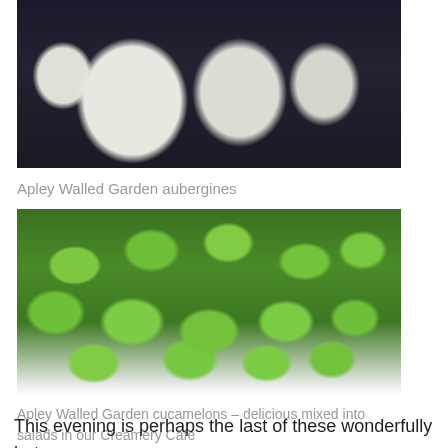[Figure (photo): Close-up photo of white/pale Apley Walled Garden aubergines against a dark background]
Apley Walled Garden aubergines
[Figure (photo): Photo of Apley Walled Garden cucamelons – small green striped melon-like fruits piled together]
Apley Walled Garden cucamelons – delicious mixed into salads in our Creamery Cafe
This evening is perhaps the last of these wonderfully hot